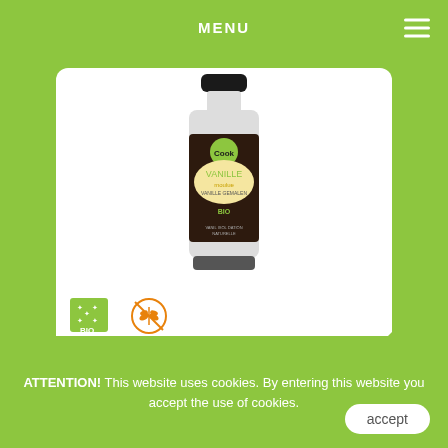MENU
[Figure (photo): Cook brand bourbon vanille powder 10gr spice jar with black cap, dark label with gold vanille text and BIO certification]
[Figure (logo): BIO certification logo (green square with stars) and gluten-free icon (orange wheat crossed out)]
bourbon vanille powder cook 10gr
- 0 + €16,95 unid
ATTENTION! This website uses cookies. By entering this website you accept the use of cookies.
accept